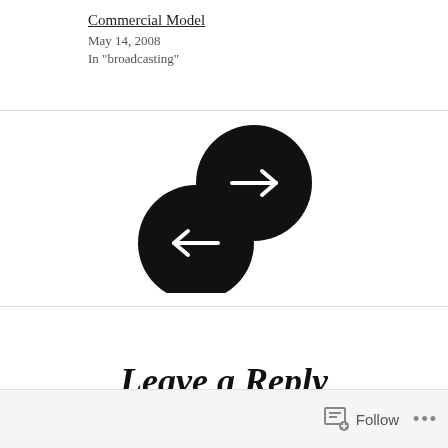Commercial Model
May 14, 2008
In "broadcasting"
[Figure (illustration): Two black circular navigation buttons: one with a right-arrow (next) positioned upper-right, one with a left-arrow (previous) positioned lower-left, overlapping slightly.]
Leave a Reply
Follow ...